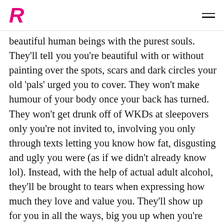R
beautiful human beings with the purest souls. They'll tell you you're beautiful with or without painting over the spots, scars and dark circles your old 'pals' urged you to cover. They won't make humour of your body once your back has turned. They won't get drunk off of WKDs at sleepovers only you're not invited to, involving you only through texts letting you know how fat, disgusting and ugly you were (as if we didn't already know lol). Instead, with the help of actual adult alcohol, they'll be brought to tears when expressing how much they love and value you. They'll show up for you in all the ways, big you up when you're feeling your smallest and try their best to help you unlearn what past 'buddies' taught you to hate most about yourself.